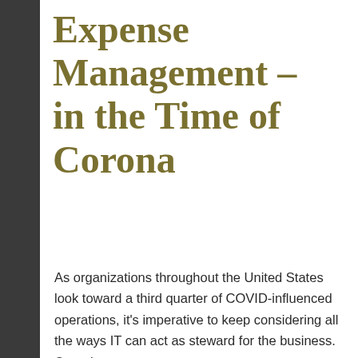Expense Management – in the Time of Corona
As organizations throughout the United States look toward a third quarter of COVID-influenced operations, it's imperative to keep considering all the ways IT can act as steward for the business. Over the
ℹ Amalgam Insights' Research
Dismiss